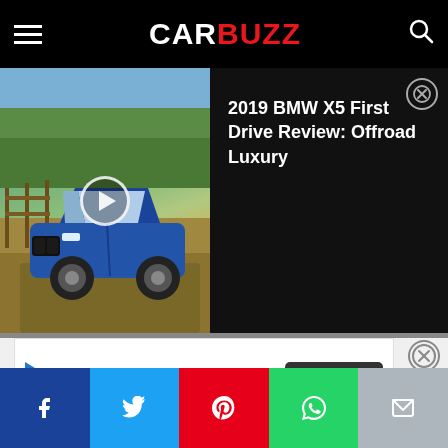CarBuzz
[Figure (screenshot): Video thumbnail of blue BMW X5 SUV driving on a path with trees and fence in background, with a play button overlay]
2019 BMW X5 First Drive Review: Offroad Luxury
[Figure (other): Advertisement banner for Shred415 Sterling with logo, tagline 'Try Us For Free' and a 'Learn More' button]
Social share bar with Facebook, Twitter, Pinterest, WhatsApp, and Email buttons